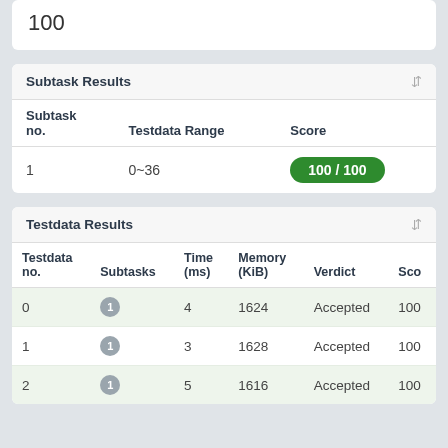100
| Subtask no. | Testdata Range | Score |
| --- | --- | --- |
| 1 | 0~36 | 100 / 100 |
| Testdata no. | Subtasks | Time (ms) | Memory (KiB) | Verdict | Sco |
| --- | --- | --- | --- | --- | --- |
| 0 | 1 | 4 | 1624 | Accepted | 100 |
| 1 | 1 | 3 | 1628 | Accepted | 100 |
| 2 | 1 | 5 | 1616 | Accepted | 100 |